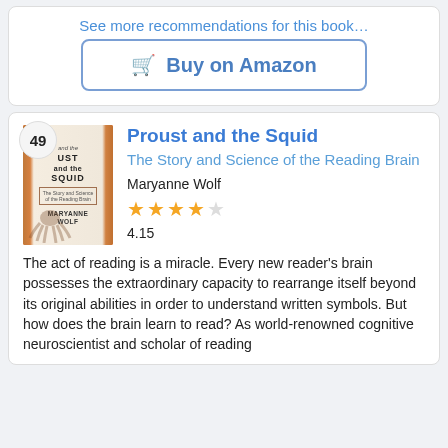See more recommendations for this book…
🛒 Buy on Amazon
Proust and the Squid
The Story and Science of the Reading Brain
Maryanne Wolf
4.15
The act of reading is a miracle. Every new reader's brain possesses the extraordinary capacity to rearrange itself beyond its original abilities in order to understand written symbols. But how does the brain learn to read? As world-renowned cognitive neuroscientist and scholar of reading